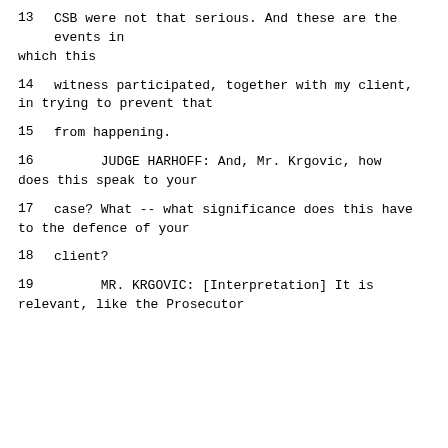13    CSB were not that serious.  And these are the events in which this
14    witness participated, together with my client, in trying to prevent that
15    from happening.
16          JUDGE HARHOFF:  And, Mr. Krgovic, how does this speak to your
17    case?  What -- what significance does this have to the defence of your
18    client?
19          MR. KRGOVIC: [Interpretation] It is relevant, like the Prosecutor